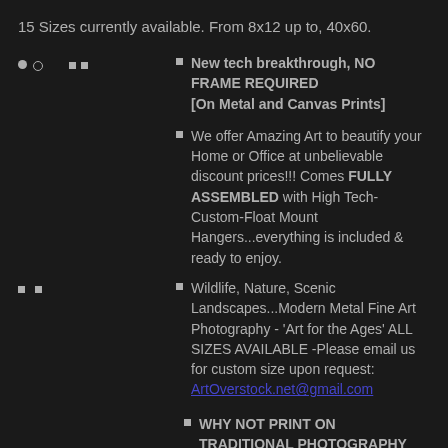15 Sizes currently available. From 8x12 up to, 40x60.
New tech breakthrough, NO FRAME REQUIRED [On Metal and Canvas Prints]
We offer Amazing Art to beautify your Home or Office at unbelievable discount prices!!!  Comes FULLY ASSEMBLED with High Tech-Custom-Float Mount Hangers...everything is included & ready to enjoy.
Wildlife, Nature, Scenic Landscapes...Modern Metal Fine Art Photography - 'Art for the Ages'  ALL SIZES AVAILABLE  -Please email us for custom size upon request:  ArtOverstock.net@gmail.com
WHY NOT PRINT ON TRADITIONAL PHOTOGRAPHY PAPER??
IF YOU would like your Artwork printed on a different media such as Canvas, Wood...